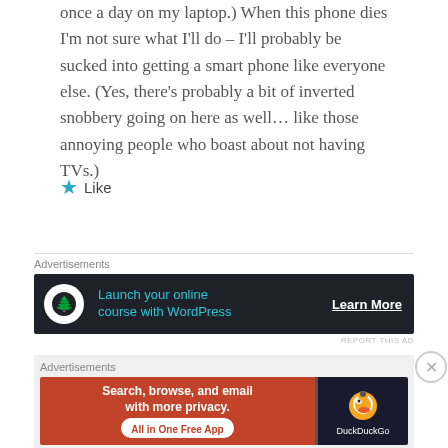once a day on my laptop.) When this phone dies I'm not sure what I'll do – I'll probably be sucked into getting a smart phone like everyone else. (Yes, there's probably a bit of inverted snobbery going on here as well… like those annoying people who boast about not having TVs.)
★ Like
[Figure (infographic): Dark advertisement banner: circular tree icon on left, teal text 'Launch your online course with WordPress', white underlined 'Learn More' on right]
REPORT THIS AD
[Figure (infographic): DuckDuckGo advertisement banner with orange left side 'Search, browse, and email with more privacy. All in One Free App' and dark right side with DuckDuckGo logo]
REPORT THIS AD